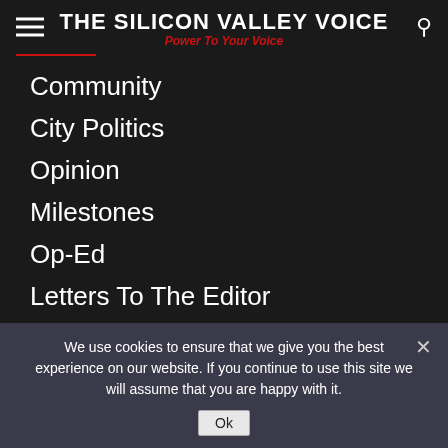THE SILICON VALLEY VOICE
Power To Your Voice
Community
City Politics
Opinion
Milestones
Op-Ed
Letters To The Editor
Schools
Public Safety
Arts & Entertainment
Sports
Business & Tech
We use cookies to ensure that we give you the best experience on our website. If you continue to use this site we will assume that you are happy with it.